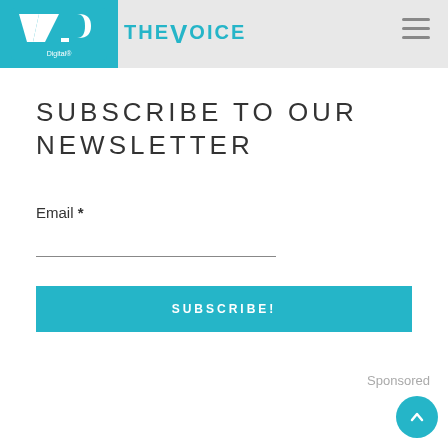VP Digital | THE VOICE
SUBSCRIBE TO OUR NEWSLETTER
Email *
SUBSCRIBE!
Sponsored